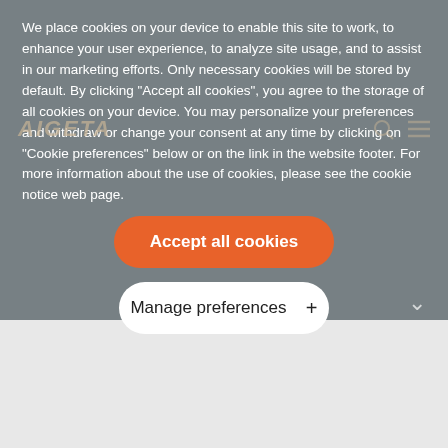We place cookies on your device to enable this site to work, to enhance your user experience, to analyze site usage, and to assist in our marketing efforts. Only necessary cookies will be stored by default. By clicking “Accept all cookies”, you agree to the storage of all cookies on your device. You may personalize your preferences and withdraw or change your consent at any time by clicking on “Cookie preferences” below or on the link in the website footer. For more information about the use of cookies, please see the cookie notice web page.
Accept all cookies
Manage preferences +